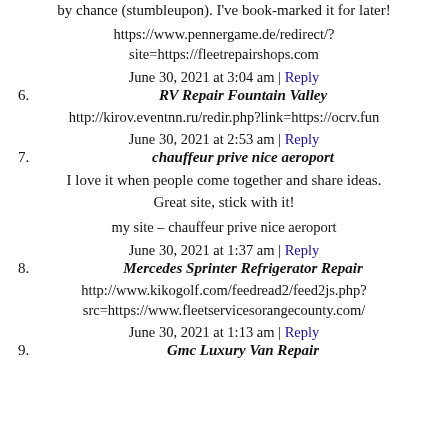by chance (stumbleupon). I've book-marked it for later!
https://www.pennergame.de/redirect/?site=https://fleetrepairshops.com
June 30, 2021 at 3:04 am | Reply
6. RV Repair Fountain Valley
http://kirov.eventnn.ru/redir.php?link=https://ocrv.fun
June 30, 2021 at 2:53 am | Reply
7. chauffeur prive nice aeroport
I love it when people come together and share ideas. Great site, stick with it!
my site – chauffeur prive nice aeroport
June 30, 2021 at 1:37 am | Reply
8. Mercedes Sprinter Refrigerator Repair
http://www.kikogolf.com/feedread2/feed2js.php?src=https://www.fleetservicesorangecounty.com/
June 30, 2021 at 1:13 am | Reply
9. Gmc Luxury Van Repair